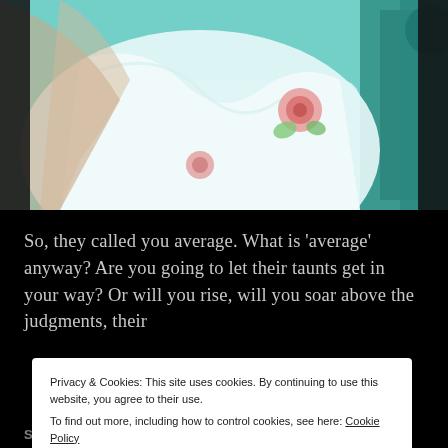[Figure (photo): Close-up photo of a person wearing a white floral dress with rose pattern, teal/turquoise background, arms visible]
So, they called you average. What is 'average' anyway? Are you going to let their taunts get in your way? Or will you rise, will you soar above the judgments, their
Privacy & Cookies: This site uses cookies. By continuing to use this website, you agree to their use.
To find out more, including how to control cookies, see here: Cookie Policy
Close and accept
SHARE THIS: